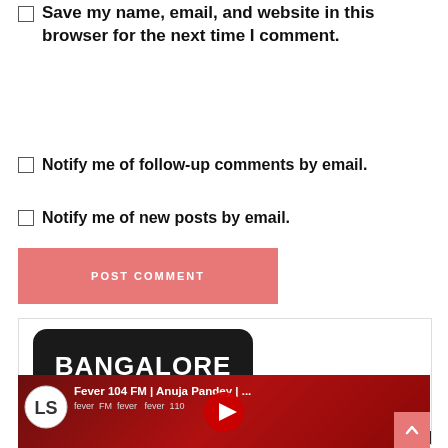Save my name, email, and website in this browser for the next time I comment.
Notify me of follow-up comments by email.
Notify me of new posts by email.
POST COMMENT
[Figure (logo): Bangalore Insider logo — black rounded rectangle with BANGALORE in white bold text and INSIDER in a blue bar with blue horizontal lines on each side]
[Figure (screenshot): YouTube video thumbnail showing a woman with sunglasses in front of Fever FM branding, titled 'Fever 104 FM | Anuja Pandey | ...' with a red play button]